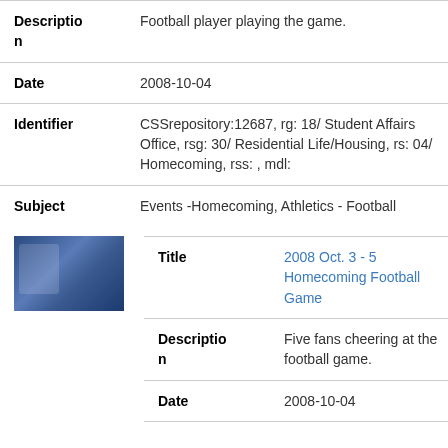| Label | Value |
| --- | --- |
| Description | Football player playing the game. |
| Date | 2008-10-04 |
| Identifier | CSSrepository:12687, rg: 18/ Student Affairs Office, rsg: 30/ Residential Life/Housing, rs: 04/ Homecoming, rss: , mdl: |
| Subject | Events -Homecoming, Athletics - Football |
[Figure (photo): Thumbnail photo of fans at a homecoming football game]
| Label | Value |
| --- | --- |
| Title | 2008 Oct. 3 - 5 Homecoming Football Game |
| Description | Five fans cheering at the football game. |
| Date | 2008-10-04 |